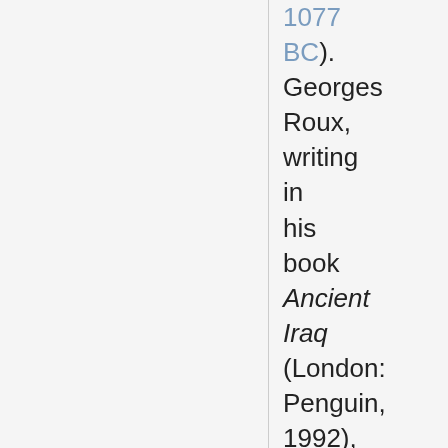1077 BC). Georges Roux, writing in his book Ancient Iraq (London: Penguin, 1992), considers Tiglath-